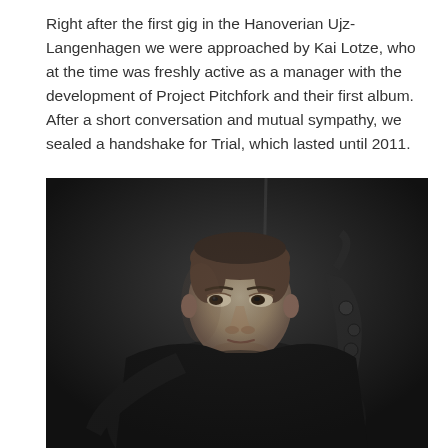Right after the first gig in the Hanoverian Ujz-Langenhagen we were approached by Kai Lotze, who at the time was freshly active as a manager with the development of Project Pitchfork and their first album. After a short conversation and mutual sympathy, we sealed a handshake for Trial, which lasted until 2011.
[Figure (photo): Black and white photograph of a bald young man in a dark shirt, seated and looking to the left, with what appears to be a saxophone or other instrument partially visible on the right side. Dark background.]